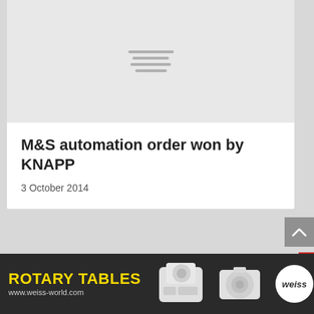[Figure (photo): Gray placeholder image with horizontal lines in center, representing a loading or missing image thumbnail]
M&S automation order won by KNAPP
3 October 2014
[Figure (other): Search bar with placeholder text SEARCH ...]
[Figure (other): Advertisement banner for ROTARY TABLES by Weiss (www.weiss-world.com) with images of rotary table devices and Weiss logo]